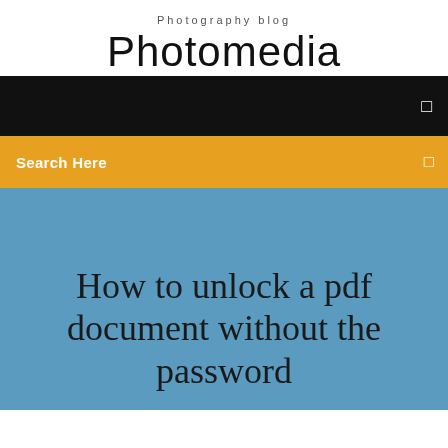Photography blog
Photomedia
Search Here
How to unlock a pdf document without the password